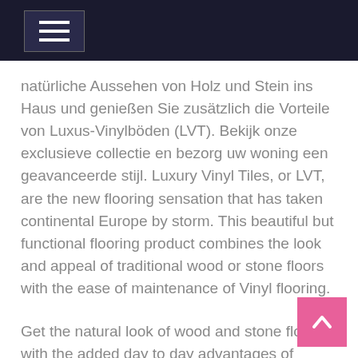natürliche Aussehen von Holz und Stein ins Haus und genießen Sie zusätzlich die Vorteile von Luxus-Vinylböden (LVT). Bekijk onze exclusieve collectie en bezorg uw woning een geavanceerde stijl. Luxury Vinyl Tiles, or LVT, are the new flooring sensation that has taken continental Europe by storm. This beautiful but functional flooring product combines the look and appeal of traditional wood or stone floors with the ease of maintenance of Vinyl flooring.
Get the natural look of wood and stone flooring with the added day to day advantages of luxury vinyl flooring (LVT). Stunning wood and stone effects are painstakingly recreated across our ranges with beautiful depth of color. In wood design there are various shades to choose froOntario Oak, Brazilian Walnut, Highland Hickory, West African Wenge, Tropical Fruitwoo Vermont